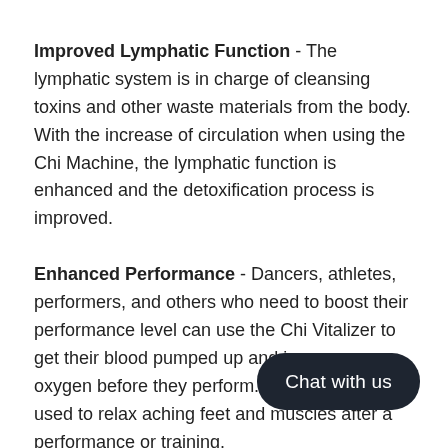Improved Lymphatic Function - The lymphatic system is in charge of cleansing toxins and other waste materials from the body. With the increase of circulation when using the Chi Machine, the lymphatic function is enhanced and the detoxification process is improved.
Enhanced Performance - Dancers, athletes, performers, and others who need to boost their performance level can use the Chi Vitalizer to get their blood pumped up and increase oxygen before they perform. It can also be used to relax aching feet and muscles after a performance or training.
Reduced Stress Levels - There is noth... a massage, and the soothing goldfish moti... ...his device can help to relax tensed muscles and reduce stress in